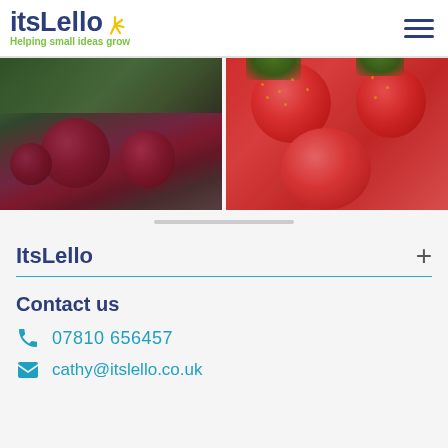itsLello – Helping small ideas grow
[Figure (photo): Photo of fresh beetroot with stems and soil on a blue surface]
[Figure (photo): Close-up photo of ripe red strawberries with green leaves]
ItsLello
Contact us
07810 656457
cathy@itslello.co.uk